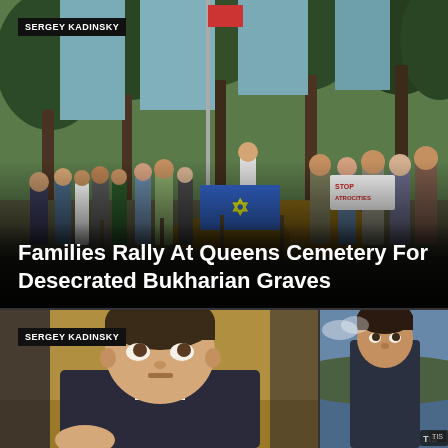[Figure (photo): Outdoor rally scene at a cemetery in Queens, with crowd gathered around signs including Star of David banner and protest signs reading 'STOP ATROCITIES'. Trees and a flagpole visible in background.]
Families Rally At Queens Cemetery For Desecrated Bukharian Graves
[Figure (photo): Close-up photo of a man in a suit, looking upward, gesturing with hand visible at bottom. Photo credit: Sergey Kadinsky.]
[Figure (photo): Partial photo of a person outdoors with blurred background, with small 'TIS' watermark in corner.]